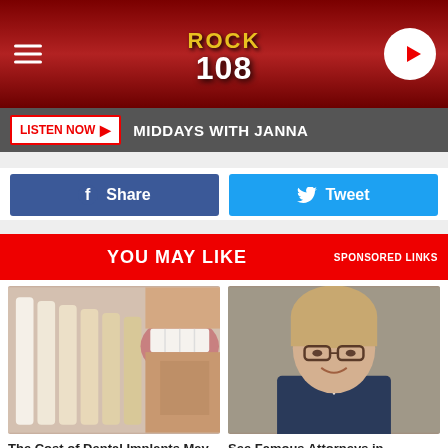ROCK 108
LISTEN NOW ▶   MIDDAYS WITH JANNA
f Share
Tweet
YOU MAY LIKE   SPONSORED LINKS
[Figure (photo): Close-up of dental implants/tooth shade guide next to a smiling mouth]
The Cost of Dental Implants May Change Your Mind About Them
Dental Implants   Search Now
[Figure (photo): Portrait of a smiling woman with glasses and blonde hair, wearing a dark blazer]
See Famous Attorneys in Ashburn
Lawyers | Search Ads